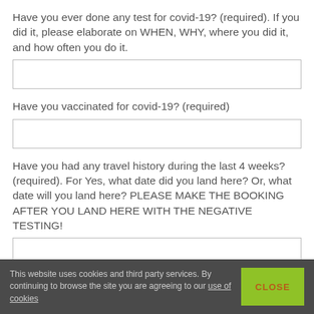Have you ever done any test for covid-19? (required). If you did it, please elaborate on WHEN, WHY, where you did it, and how often you do it.
Have you vaccinated for covid-19? (required)
Have you had any travel history during the last 4 weeks? (required). For Yes, what date did you land here? Or, what date will you land here? PLEASE MAKE THE BOOKING AFTER YOU LAND HERE WITH THE NEGATIVE TESTING!
This website uses cookies and third party services. By continuing to browse the site you are agreeing to our use of cookies